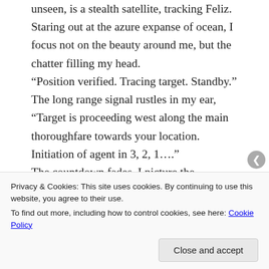unseen, is a stealth satellite, tracking Feliz. Staring out at the azure expanse of ocean, I focus not on the beauty around me, but the chatter filling my head. “Position verified. Tracing target. Standby.” The long range signal rustles in my ear, “Target is proceeding west along the main thoroughfare towards your location. Initiation of agent in 3, 2, 1….” The countdown fades. I picture the preparation procedure- the nanobug full of the neurotoxin being released and remotely guided to the throat of its unsuspecting, but fully deserving
Privacy & Cookies: This site uses cookies. By continuing to use this website, you agree to their use.
To find out more, including how to control cookies, see here: Cookie Policy